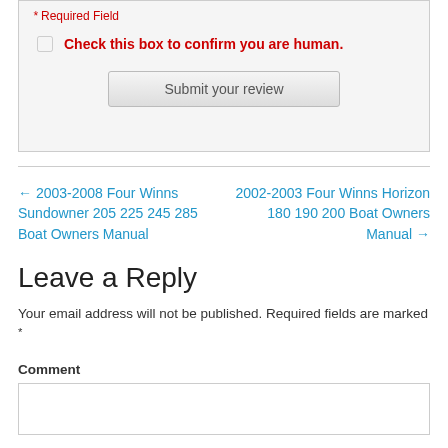* Required Field
Check this box to confirm you are human.
Submit your review
← 2003-2008 Four Winns Sundowner 205 225 245 285 Boat Owners Manual
2002-2003 Four Winns Horizon 180 190 200 Boat Owners Manual →
Leave a Reply
Your email address will not be published. Required fields are marked *
Comment